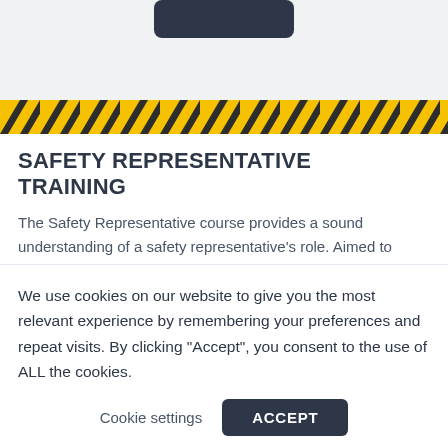[Figure (screenshot): Top area with dark button shape on light gray background]
[Figure (illustration): Yellow and black diagonal hazard warning stripe]
SAFETY REPRESENTATIVE TRAINING
The Safety Representative course provides a sound understanding of a safety representative's role. Aimed to promote and maintain safety and health in the workplace.
We use cookies on our website to give you the most relevant experience by remembering your preferences and repeat visits. By clicking “Accept”, you consent to the use of ALL the cookies.